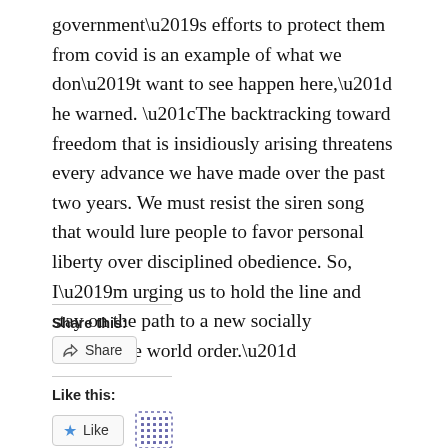government’s efforts to protect them from covid is an example of what we don’t want to see happen here,” he warned. “The backtracking toward freedom that is insidiously arising threatens every advance we have made over the past two years. We must resist the siren song that would lure people to favor personal liberty over disciplined obedience. So, I’m urging us to hold the line and stay on the path to a new socially progressive world order.”
Share this:
[Figure (other): Share button with share icon]
Like this:
[Figure (other): Like button with star icon and dotted avatar icon]